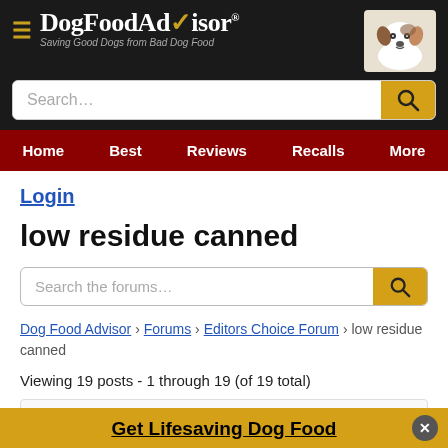DogFoodAdvisor - Saving Good Dogs from Bad Dog Food
Search...
Home | Best | Reviews | Recalls | More
Login
low residue canned
Search the forums...
Dog Food Advisor › Forums › Editors Choice Forum › low residue canned
Viewing 19 posts - 1 through 19 (of 19 total)
Get Lifesaving Dog Food